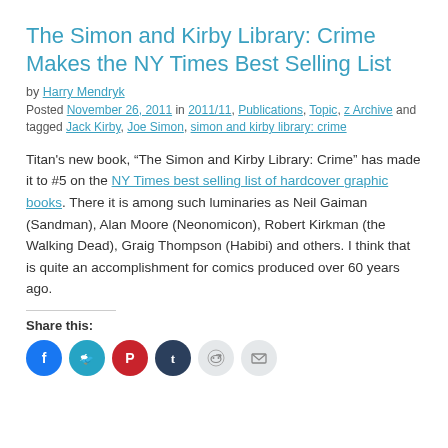The Simon and Kirby Library: Crime Makes the NY Times Best Selling List
by Harry Mendryk
Posted November 26, 2011 in 2011/11, Publications, Topic, z Archive and tagged Jack Kirby, Joe Simon, simon and kirby library: crime
Titan's new book, “The Simon and Kirby Library: Crime” has made it to #5 on the NY Times best selling list of hardcover graphic books. There it is among such luminaries as Neil Gaiman (Sandman), Alan Moore (Neonomicon), Robert Kirkman (the Walking Dead), Graig Thompson (Habibi) and others. I think that is quite an accomplishment for comics produced over 60 years ago.
Share this:
[Figure (infographic): Social share buttons: Facebook (blue), Twitter (teal), Pinterest (red), Tumblr (dark blue), Reddit (light gray), Email (light gray)]